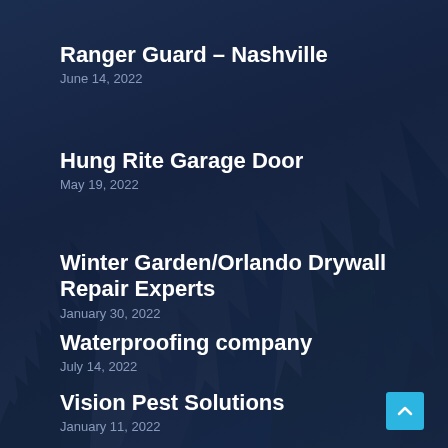Ranger Guard – Nashville
June 14, 2022
Hung Rite Garage Door
May 19, 2022
Winter Garden/Orlando Drywall Repair Experts
January 30, 2022
Waterproofing company
July 14, 2022
Vision Pest Solutions
January 11, 2022